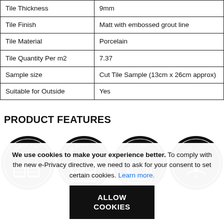| Tile Thickness | 9mm |
| Tile Finish | Matt with embossed grout line |
| Tile Material | Porcelain |
| Tile Quantity Per m2 | 7.37 |
| Sample size | Cut Tile Sample (13cm x 26cm approx) |
| Suitable for Outside | Yes |
PRODUCT FEATURES
[Figure (infographic): Four circular black badge icons labeled: Suitable For, Wall Tiles, Floor Tiles, Matt]
We use cookies to make your experience better. To comply with the new e-Privacy directive, we need to ask for your consent to set certain cookies. Learn more.
ALLOW COOKIES